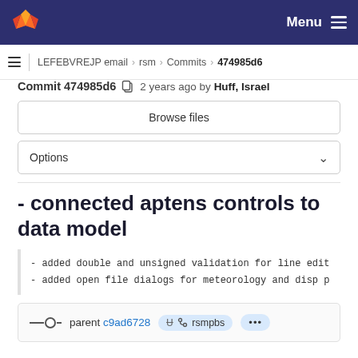GitLab — Menu
LEFEBVREJP email > rsm > Commits > 474985d6
Commit 474985d6  2 years ago by Huff, Israel
Browse files
Options
- connected aptens controls to data model
- added double and unsigned validation for line edit
- added open file dialogs for meteorology and disp p
parent c9ad6728  rsmpbs  ...